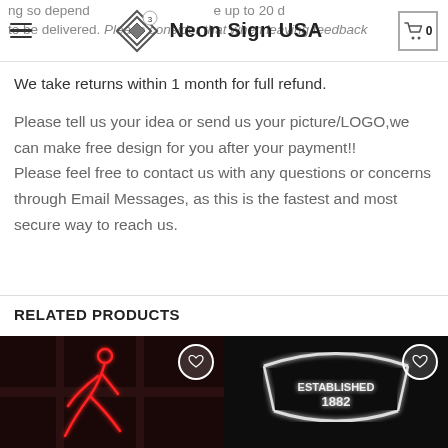Neon Sign USA
We take returns within 1 month for full refund.
Please tell us your idea or send us your picture/LOGO,we can make free design for you after your payment!! Please feel free to contact us with any questions or concerns through Email Messages, as this is the fastest and most secure way to reach us.
RELATED PRODUCTS
[Figure (photo): Neon sign product showing a red neon silhouette of a dancing figure against a dark background, with a circular wishlist heart button in the top right.]
[Figure (photo): Neon sign product showing a white/silver neon sign with text 'ESTABLISHED 1882' against a dark background, with a circular wishlist heart button in the top right.]